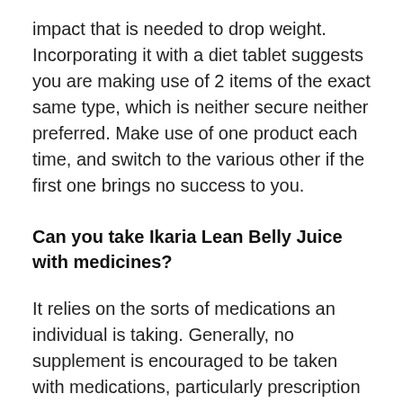impact that is needed to drop weight. Incorporating it with a diet tablet suggests you are making use of 2 items of the exact same type, which is neither secure neither preferred. Make use of one product each time, and switch to the various other if the first one brings no success to you.
Can you take Ikaria Lean Belly Juice with medicines?
It relies on the sorts of medications an individual is taking. Generally, no supplement is encouraged to be taken with medications, particularly prescription medications, however, for common medications, supplements and also medicines can